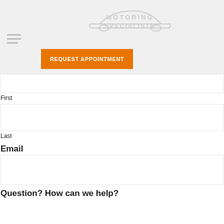[Figure (logo): Motoring Specialists logo with car silhouette outline and text 'MOTORING SPECIALISTS' in light gray on gray background]
[Figure (other): Hamburger menu icon (three horizontal lines)]
REQUEST APPOINTMENT
First
Last
Email
Question? How can we help?